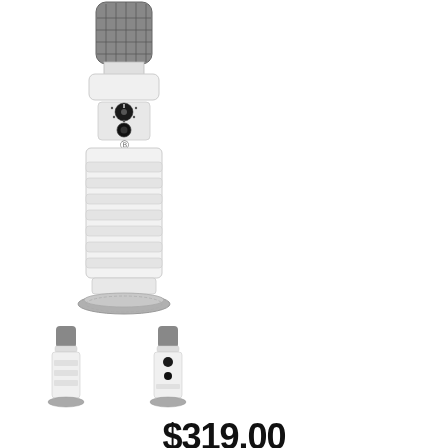[Figure (photo): White USB condenser microphone (main product image) shown upright with a silver mesh grille at top, white body with ridged grip texture, a black dial/knob and 3.5mm headphone jack on the front panel with headphone icon, and a circular silver/grey base stand.]
[Figure (photo): Thumbnail image 1: White microphone shown from front, full length]
[Figure (photo): Thumbnail image 2: White microphone shown from slightly different angle]
[Figure (photo): Thumbnail image 3: Product packaging box with microphone and accessories laid out]
$319.00